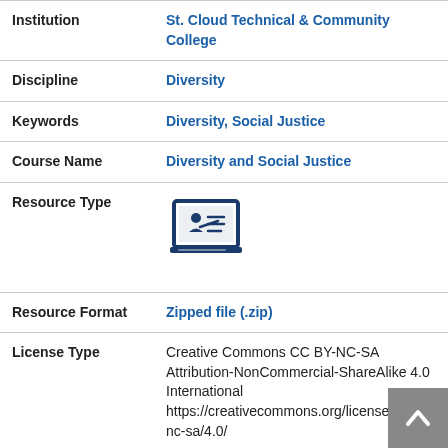| Institution | St. Cloud Technical & Community College |
| Discipline | Diversity |
| Keywords | Diversity, Social Justice |
| Course Name | Diversity and Social Justice |
| Resource Type | [laptop/presentation icon] |
| Resource Format | Zipped file (.zip) |
| License Type | Creative Commons CC BY-NC-SA Attribution-NonCommercial-ShareAlike 4.0 International https://creativecommons.org/licenses/by-nc-sa/4.0/ |
| Version Edition | Original |